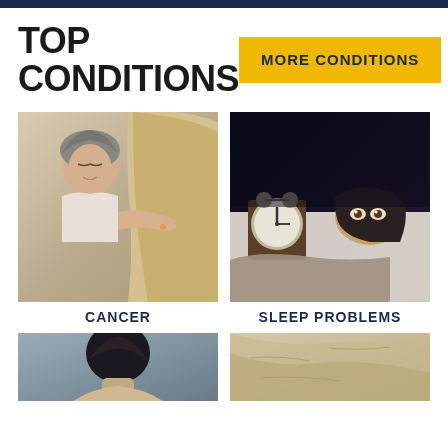TOP CONDITIONS
MORE CONDITIONS
[Figure (photo): An older woman with head covering (cancer patient) embracing a younger woman, both eyes closed, soft lighting]
CANCER
[Figure (photo): A woman lying in bed unable to sleep, with an alarm clock on the nightstand, dark room]
SLEEP PROBLEMS
[Figure (photo): Person viewed from behind, dark hair, related to mental health condition]
[Figure (photo): Person in light colored clothing, related to fatigue or another condition]